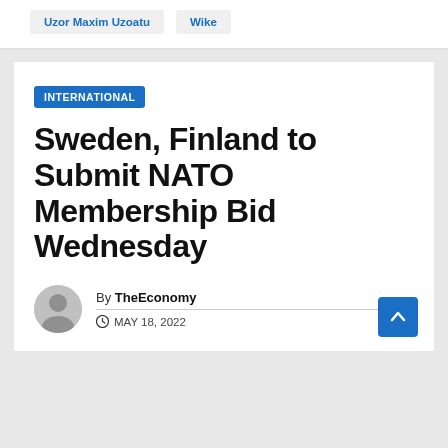Uzor Maxim Uzoatu
Wike
INTERNATIONAL
Sweden, Finland to Submit NATO Membership Bid Wednesday
By TheEconomy
MAY 18, 2022